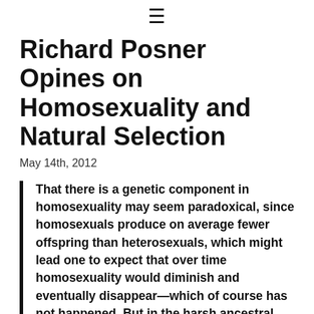≡
Richard Posner Opines on Homosexuality and Natural Selection
May 14th, 2012
That there is a genetic component in homosexuality may seem paradoxical, since homosexuals produce on average fewer offspring than heterosexuals, which might lead one to expect that over time homosexuality would diminish and eventually disappear—which of course has not happened. But in the harsh ancestral environment in which human beings evolved, there was a tradeoff between number and survival of offspring. A family